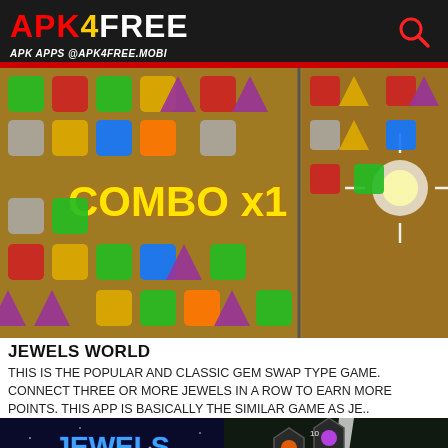APK4FREE — APK APPS @APK4FREE.MOBI
[Figure (screenshot): Jewels World mobile game screenshot showing colorful gem swap puzzle with COMBO x1 text overlay, split into two panels]
JEWELS WORLD
THIS IS THE POPULAR AND CLASSIC GEM SWAP TYPE GAME. CONNECT THREE OR MORE JEWELS IN A ROW TO EARN MORE POINTS. THIS APP IS BASICALLY THE SIMILAR GAME AS JE..
[Figure (screenshot): Bottom left: Jewels Legend app logo with gem on dark space background. Bottom right: hex-grid jewel puzzle game screenshot with lightning effect.]